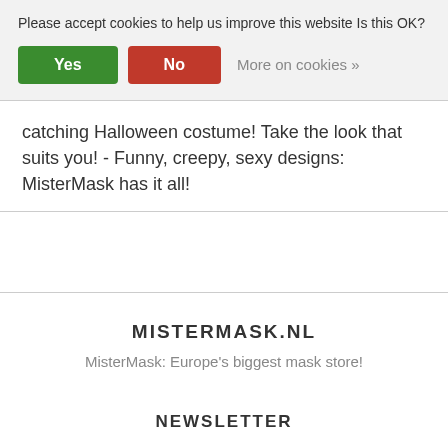Please accept cookies to help us improve this website Is this OK?
Yes
No
More on cookies »
catching Halloween costume! Take the look that suits you! - Funny, creepy, sexy designs: MisterMask has it all!
MISTERMASK.NL
MisterMask: Europe's biggest mask store!
NEWSLETTER